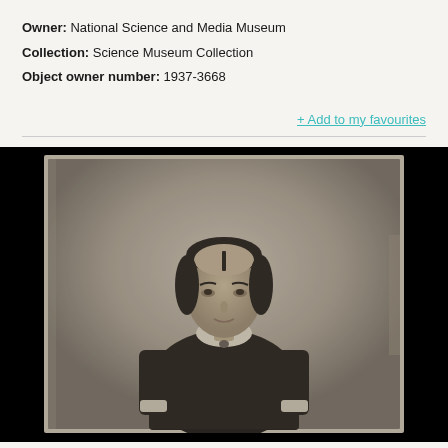Owner: National Science and Media Museum
Collection: Science Museum Collection
Object owner number: 1937-3668
+ Add to my favourites
[Figure (photo): Vintage black and white portrait photograph of a woman in dark clothing with white collar, seated, with dark hair parted in the middle, displayed on a black background.]